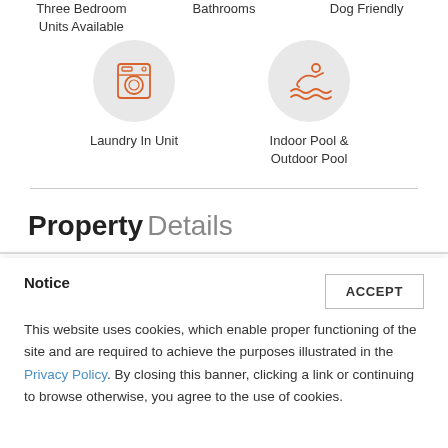Three Bedroom Units Available   Bathrooms   Dog Friendly
[Figure (illustration): Washing machine icon in orange outline on light gray circle, labeled Laundry In Unit]
[Figure (illustration): Swimming pool/waves icon in orange outline on light gray circle, labeled Indoor Pool & Outdoor Pool]
Laundry In Unit
Indoor Pool & Outdoor Pool
Property Details
Notice
This website uses cookies, which enable proper functioning of the site and are required to achieve the purposes illustrated in the Privacy Policy. By closing this banner, clicking a link or continuing to browse otherwise, you agree to the use of cookies.